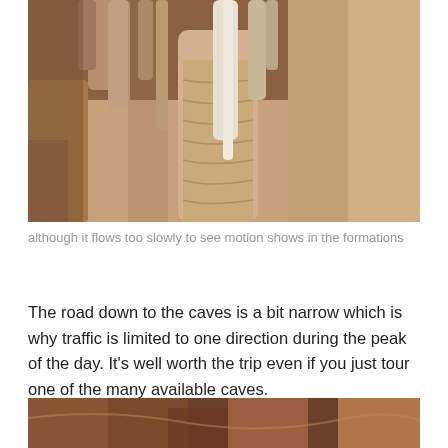[Figure (photo): Close-up photograph of cave formations including stalactites and stalagmites in warm beige and brown tones]
although it flows too slowly to see motion shows in the formations
The road down to the caves is a bit narrow which is why traffic is limited to one direction during the peak of the day. It's well worth the trip even if you just tour one of the many available caves.
[Figure (photo): Partial view of cave interior showing rock formations in dark reddish-brown tones]